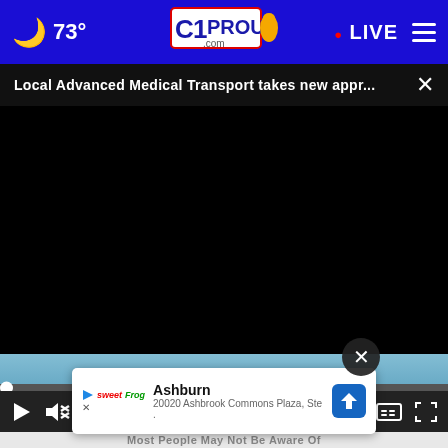73° CIPROUD.com LIVE
Local Advanced Medical Transport takes new appr... ×
[Figure (screenshot): Black video player area with playback controls showing 00:00 timestamp, play button, mute button, subtitles button, and fullscreen button]
[Figure (screenshot): Advertisement banner showing sweetFrog logo, Ashburn location, 20020 Ashbrook Commons Plaza, Ste. with navigation direction icon]
Most People May Not Be Aware of